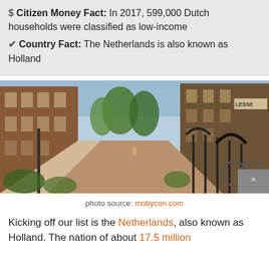$ Citizen Money Fact: In 2017, 599,000 Dutch households were classified as low-income
✔ Country Fact: The Netherlands is also known as Holland
[Figure (photo): Street scene in the Netherlands showing a brick pedestrian/cycling path lined with tall brick residential buildings, trees, iron fences, and bicycles. A cyclist is visible in the distance.]
photo source: mobycon.com
Kicking off our list is the Netherlands, also known as Holland. The nation of about 17.5 million